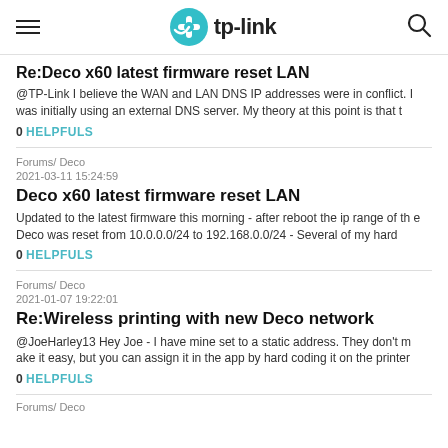TP-Link header with hamburger menu, logo, and search icon
Re:Deco x60 latest firmware reset LAN
@TP-Link I believe the WAN and LAN DNS IP addresses were in conflict. I was initially using an external DNS server. My theory at this point is that t
0 HELPFULS
Forums/ Deco
2021-03-11 15:24:59
Deco x60 latest firmware reset LAN
Updated to the latest firmware this morning - after reboot the ip range of the Deco was reset from 10.0.0.0/24 to 192.168.0.0/24 - Several of my hard
0 HELPFULS
Forums/ Deco
2021-01-07 19:22:01
Re:Wireless printing with new Deco network
@JoeHarley13 Hey Joe - I have mine set to a static address. They don't make it easy, but you can assign it in the app by hard coding it on the printer
0 HELPFULS
Forums/ Deco